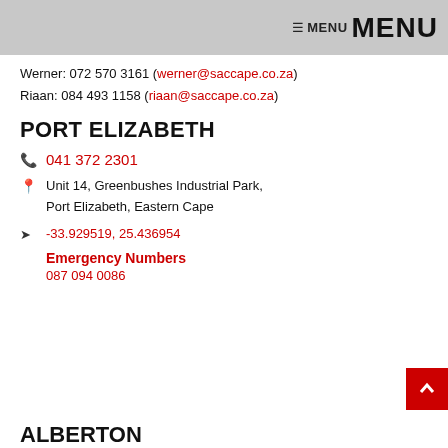MENU MENU
Werner: 072 570 3161 (werner@saccape.co.za)
Riaan: 084 493 1158 (riaan@saccape.co.za)
PORT ELIZABETH
041 372 2301
Unit 14, Greenbushes Industrial Park, Port Elizabeth, Eastern Cape
-33.929519, 25.436954
Emergency Numbers
087 094 0086
ALBERTON